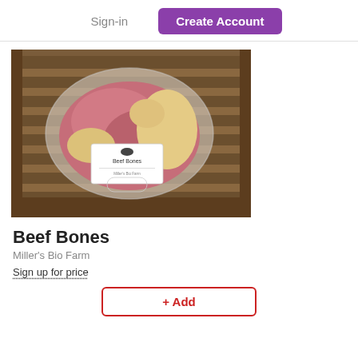Sign-in  Create Account
[Figure (photo): Packaged beef bones in a clear plastic vacuum-sealed bag with a white product label reading 'Beef Bones', placed inside a wooden crate with slatted sides.]
Beef Bones
Miller's Bio Farm
Sign up for price